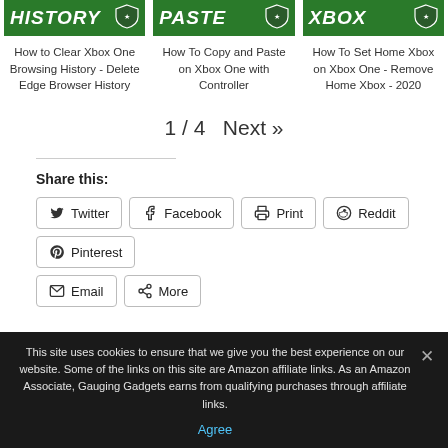[Figure (screenshot): Green header banner with text HISTORY]
[Figure (screenshot): Green header banner with text PASTE]
[Figure (screenshot): Green header banner with text XBOX]
How to Clear Xbox One Browsing History - Delete Edge Browser History
How To Copy and Paste on Xbox One with Controller
How To Set Home Xbox on Xbox One - Remove Home Xbox - 2020
1 / 4  Next »
Share this:
Twitter
Facebook
Print
Reddit
Pinterest
Email
More
This site uses cookies to ensure that we give you the best experience on our website. Some of the links on this site are Amazon affiliate links. As an Amazon Associate, Gauging Gadgets earns from qualifying purchases through affiliate links.
Agree